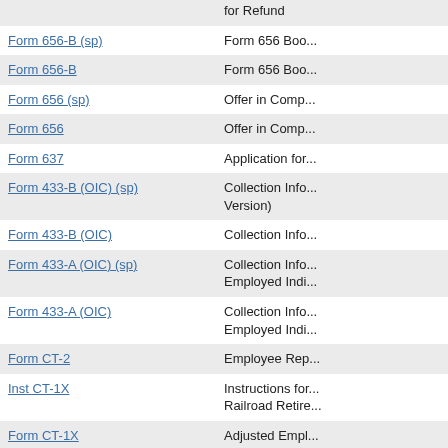| Form | Description |
| --- | --- |
|  | for Refund |
| Form 656-B (sp) | Form 656 Boo... |
| Form 656-B | Form 656 Boo... |
| Form 656 (sp) | Offer in Comp... |
| Form 656 | Offer in Comp... |
| Form 637 | Application for... |
| Form 433-B (OIC) (sp) | Collection Info...
Version) |
| Form 433-B (OIC) | Collection Info... |
| Form 433-A (OIC) (sp) | Collection Info...
Employed Indi... |
| Form 433-A (OIC) | Collection Info...
Employed Indi... |
| Form CT-2 | Employee Rep... |
| Inst CT-1X | Instructions for...
Railroad Retire... |
| Form CT-1X | Adjusted Empl...
or Claim for Re... |
| Form 15111 (sp) | Earned Income... |
| Form 14411 | Systemic Advo... |
| Form 14335 | Primary Conta... |